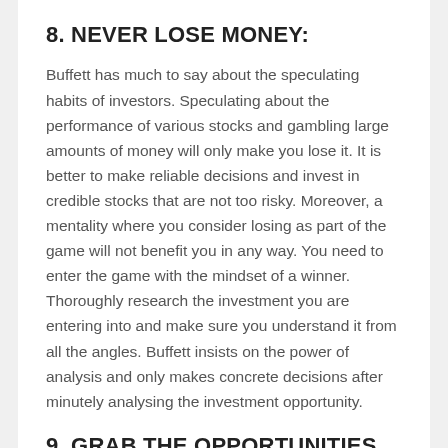8. NEVER LOSE MONEY:
Buffett has much to say about the speculating habits of investors. Speculating about the performance of various stocks and gambling large amounts of money will only make you lose it. It is better to make reliable decisions and invest in credible stocks that are not too risky. Moreover, a mentality where you consider losing as part of the game will not benefit you in any way. You need to enter the game with the mindset of a winner. Thoroughly research the investment you are entering into and make sure you understand it from all the angles. Buffett insists on the power of analysis and only makes concrete decisions after minutely analysing the investment opportunity.
9. GRAB THE OPPORTUNITIES QUICKLY: